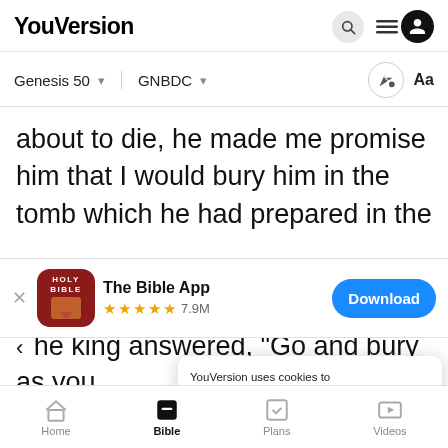YouVersion
Genesis 50  GNBDC
about to die, he made me promise him that I would bury him in the tomb which he had prepared in the
[Figure (screenshot): The Bible App banner with app icon, star rating 7.9M, and Download button]
he king answered, 'Go and bury your fa
as you
7 So
YouVersion uses cookies to personalize your experience. By using our website, you accept our use of cookies as described in our Privacy Policy.
Home  Bible  Plans  Videos